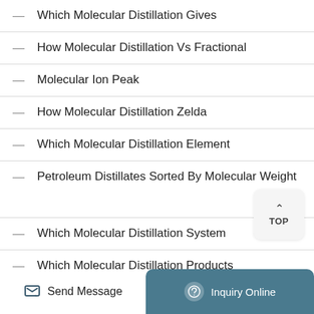Which Molecular Distillation Gives
How Molecular Distillation Vs Fractional
Molecular Ion Peak
How Molecular Distillation Zelda
Which Molecular Distillation Element
Petroleum Distillates Sorted By Molecular Weight
Which Molecular Distillation System
Which Molecular Distillation Products
Short Path Molecular Distillation Equipment
Send Message
Inquiry Online